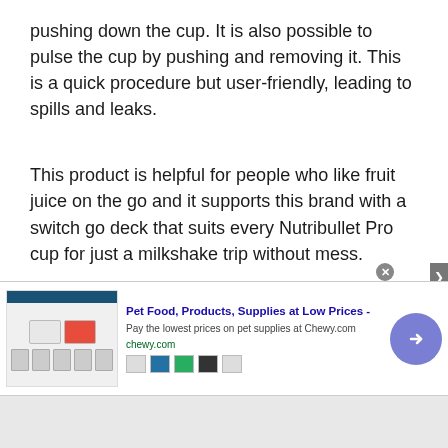pushing down the cup. It is also possible to pulse the cup by pushing and removing it. This is a quick procedure but user-friendly, leading to spills and leaks.
This product is helpful for people who like fruit juice on the go and it supports this brand with a switch go deck that suits every Nutribullet Pro cup for just a milkshake trip without mess.
There's even a 32-oz gigantic cup with a lip-ring and a 24-oz high cup with a treated lip-
[Figure (screenshot): Advertisement banner for Chewy.com - Pet Food, Products, Supplies at Low Prices. Shows pet product images on the left, ad text in the middle, and a purple circular arrow button on the right. Close button (x) shown at top right of banner.]